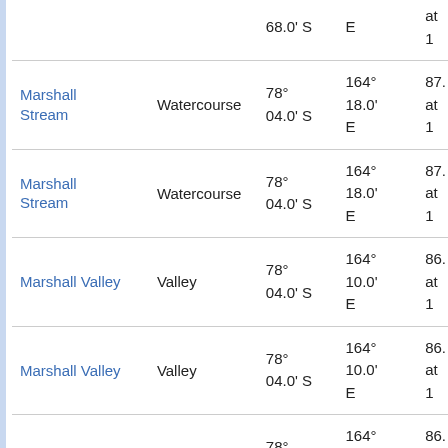| Name | Type | Latitude | Longitude | Elevation |
| --- | --- | --- | --- | --- |
| Marshall Stream | Watercourse | 78° 04.0' S | 164° 18.0' E | 87. at 1 |
| Marshall Stream | Watercourse | 78° 04.0' S | 164° 18.0' E | 87. at 1 |
| Marshall Valley | Valley | 78° 04.0' S | 164° 10.0' E | 86. at 1 |
| Marshall Valley | Valley | 78° 04.0' S | 164° 10.0' E | 86. at 1 |
| Marshall Valley | Valley | 78° 04.0' S | 164° 12.0' E | 86. at 1 |
| Martin Cirque | Cirque | 77° 28.0' S | 162° 40.0' E | 28. at 2 |
| Martin Cirque | Cirque | 77° 28.0' S | 162° 40.0' E | 28. at 2 |
| McClintock | Point | 77° | 163° 40.0' | 27. |